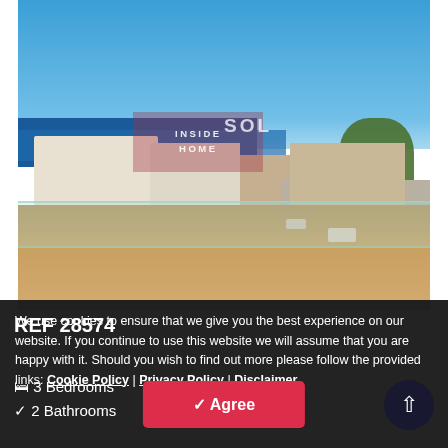[Figure (photo): Rooftop terrace view with glass balcony railing overlooking Mediterranean coastal town and sea, with blue sky. Watermark overlay reading INSIDE HOME / SOL.]
We use cookies to ensure that we give you the best experience on our website. If you continue to use this website we will assume that you are happy with it. Should you wish to find out more please follow the provided links: Cookie Policy | Privacy Policy | Disclaimer
REF 28574
3 Bedrooms
2 Bathrooms
✔ Agree